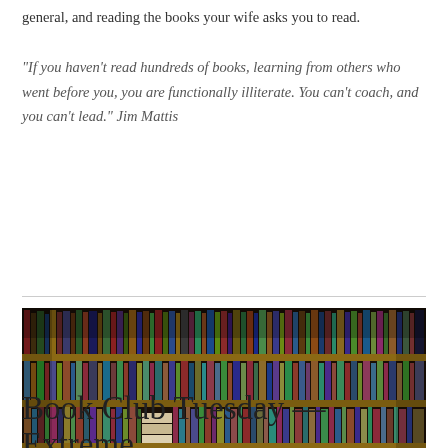general, and reading the books your wife asks you to read.
"If you haven't read hundreds of books, learning from others who went before you, you are functionally illiterate. You can't coach, and you can't lead." Jim Mattis
[Figure (photo): A large bookshelf filled floor to ceiling with hundreds of books of various sizes and colors, photographed in warm lighting.]
Book Club Tuesday — Extreme